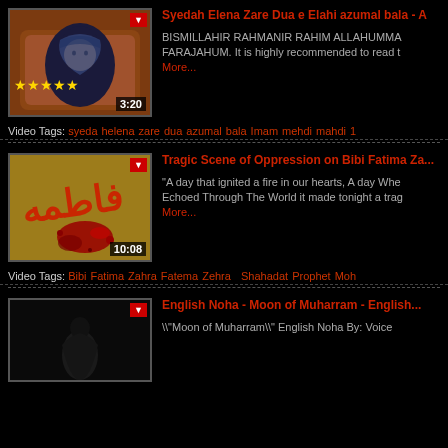[Figure (screenshot): Video thumbnail: child in hijab sitting on brown leather chair, 5 gold stars, duration 3:20, red dropdown button]
Syedah Elena Zare Dua e Elahi azumal bala - A
BISMILLAHIR RAHMANIR RAHIM ALLAHUMMA FARAJAHUM. It is highly recommended to read t More...
Video Tags: syeda helena zare dua azumal bala Imam mehdi mahdi 1
[Figure (screenshot): Video thumbnail: Arabic text Fatima in red on golden/brown background with blood splash, duration 10:08, red dropdown button]
Tragic Scene of Oppression on Bibi Fatima Za...
"A day that ignited a fire in our hearts, A day Whe Echoed Through The World it made tonight a trag More...
Video Tags: Bibi Fatima Zahra Fatema Zehra  Shahadat Prophet Moh
[Figure (screenshot): Video thumbnail: dark background with silhouette figure, English Noha - Moon of Muharram]
English Noha - Moon of Muharram - English...
\"Moon of Muharram\"  English Noha By: Voice